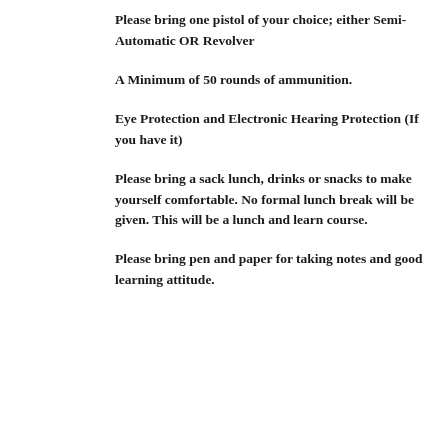Please bring one pistol of your choice; either Semi-Automatic OR Revolver
A Minimum of 50 rounds of ammunition.
Eye Protection and Electronic Hearing Protection (If you have it)
Please bring a sack lunch, drinks or snacks to make yourself comfortable. No formal lunch break will be given. This will be a lunch and learn course.
Please bring pen and paper for taking notes and good learning attitude.